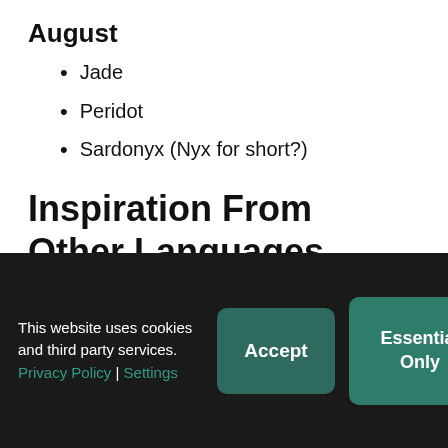August
Jade
Peridot
Sardonyx (Nyx for short?)
Inspiration From Other Languages
Junio (June in Spanish)
This website uses cookies and third party services. Privacy Policy | Settings
Accept
Essential Only